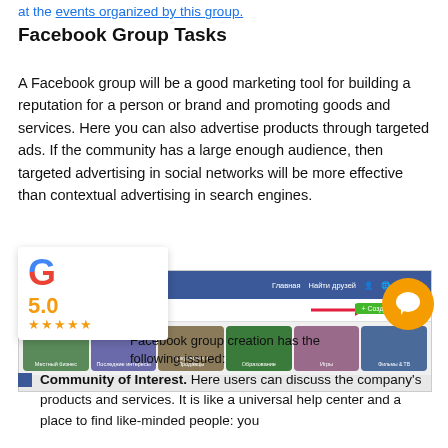at the events organized by this group.
Facebook Group Tasks
A Facebook group will be a good marketing tool for building a reputation for a person or brand and promoting goods and services. Here you can also advertise products through targeted ads. If the community has a large enough audience, then targeted advertising in social networks will be more effective than contextual advertising in search engines.
[Figure (screenshot): Screenshot of Facebook Groups page showing navigation bar, Groups and Interesting tabs, a red arrow pointing to a green 'Create Group' button, and category thumbnails below including Local Business, Recent Interests, Shopping & Sales, Education, Games, Films & TV.]
Facebook group creation has the following issued:
Community of Interest. Here users can discuss the company's products and services. It is like a universal help center and a place to find like-minded people: you